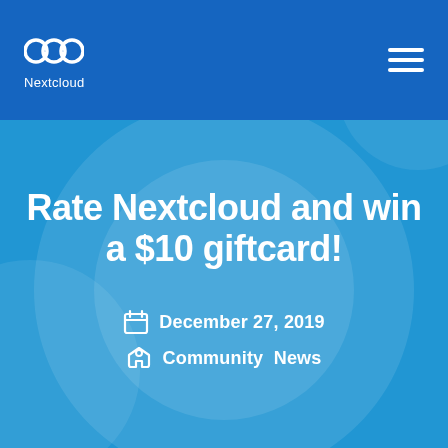Nextcloud
Rate Nextcloud and win a $10 giftcard!
December 27, 2019
Community  News